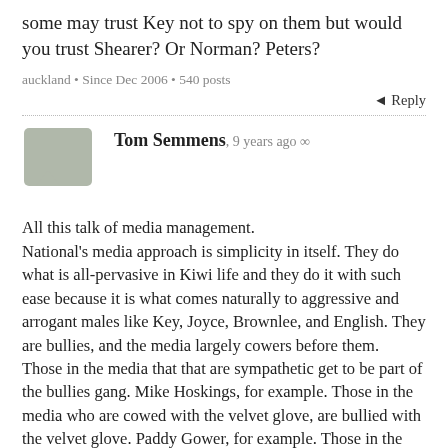some may trust Key not to spy on them but would you trust Shearer? Or Norman? Peters?
auckland • Since Dec 2006 • 540 posts
↩ Reply
Tom Semmens, 9 years ago ∞
All this talk of media management.
National's media approach is simplicity in itself. They do what is all-pervasive in Kiwi life and they do it with such ease because it is what comes naturally to aggressive and arrogant males like Key, Joyce, Brownlee, and English. They are bullies, and the media largely cowers before them.
Those in the media that that are sympathetic get to be part of the bullies gang. Mike Hoskings, for example. Those in the media who are cowed with the velvet glove, are bullied with the velvet glove. Paddy Gower, for example. Those in the media who stand up to the bullying, ignore. All of National